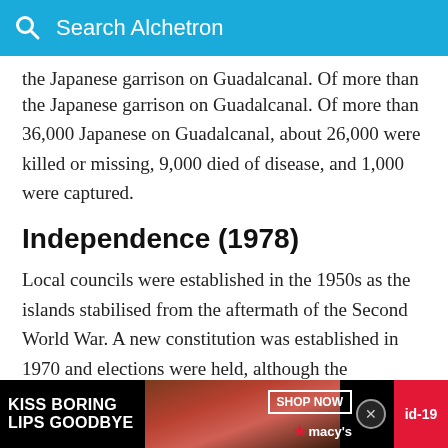Search Alchetron
the Japanese garrison on Guadalcanal. Of more than 36,000 Japanese on Guadalcanal, about 26,000 were killed or missing, 9,000 died of disease, and 1,000 were captured.
Independence (1978)
Local councils were established in the 1950s as the islands stabilised from the aftermath of the Second World War. A new constitution was established in 1970 and elections were held, although the constitution was contested and a new one was created in 1974. In 1973 the first oil price shock occurred...
[Figure (screenshot): Macy's advertisement banner at bottom of page showing 'KISS BORING LIPS GOODBYE' text with a SHOP NOW button and Macy's logo, with a red id-19 tag on the right.]